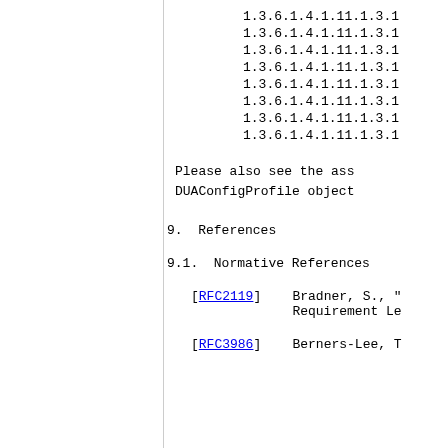1.3.6.1.4.1.11.1.3.1
1.3.6.1.4.1.11.1.3.1
1.3.6.1.4.1.11.1.3.1
1.3.6.1.4.1.11.1.3.1
1.3.6.1.4.1.11.1.3.1
1.3.6.1.4.1.11.1.3.1
1.3.6.1.4.1.11.1.3.1
1.3.6.1.4.1.11.1.3.1
Please also see the ass
DUAConfigProfile object
9.  References
9.1.  Normative References
[RFC2119]    Bradner, S., "
Requirement Le
[RFC3986]    Berners-Lee, T